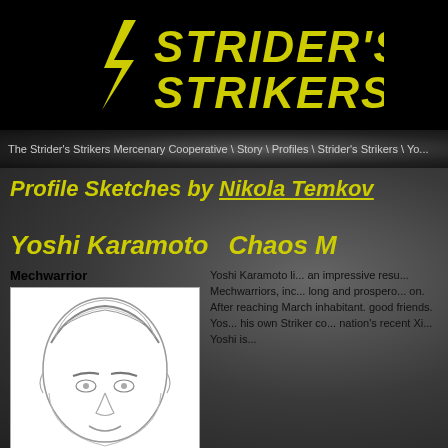[Figure (logo): Strider's Strikers yellow stylized logo on black background]
The Strider's Strikers Mercenary Cooperative \ Story \ Profiles \ Strider's Strikers \ Yo...
Profile Sketches by Nikola Temkov
Yoshi Karamoto
Chaos M...
Mechwarrior
[Figure (illustration): Pencil sketch of Yoshi Karamoto's face/head, front view]
Yoshi Karamoto li... an impressive resu... Mechwarriors, inc... long and prospero... on. After reaching March inhabitant. good friends. Yos... his own Striker co... nation's recent Xi... Yoshi is...